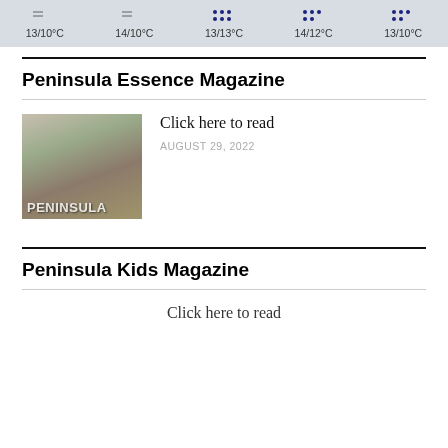[Figure (infographic): Weather forecast bar showing 5 days with temperature readings: 13/10°C, 14/10°C, 13/13°C, 14/12°C, 13/10°C with weather icons (dashes and rain dots)]
Peninsula Essence Magazine
[Figure (photo): Magazine cover thumbnail showing tree branches with PENINSULA text overlay]
Click here to read
AUGUST 29, 2022
Peninsula Kids Magazine
Click here to read